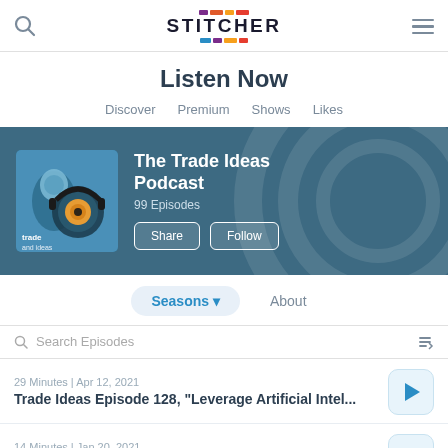[Figure (logo): Stitcher app header with search icon, Stitcher logo with colorful bars, and hamburger menu icon]
Listen Now
Discover
Premium
Shows
Likes
[Figure (screenshot): The Trade Ideas Podcast banner with podcast cover art, title 'The Trade Ideas Podcast', '99 Episodes', Share and Follow buttons on a blue background]
Seasons ▾
About
Search Episodes
29 Minutes | Apr 12, 2021
Trade Ideas Episode 128, "Leverage Artificial Intel..."
14 Minutes | Jan 20, 2021
Trade Ideas Episode 127, "Trade of the Week with